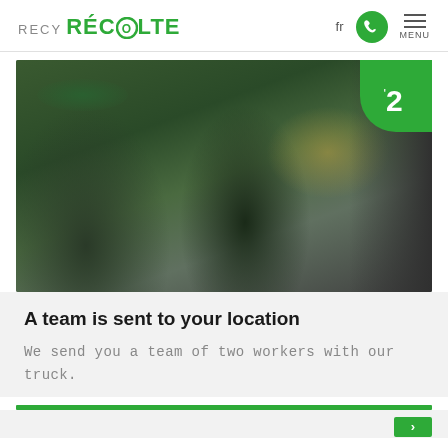RECY RÉCOLTE — fr — MENU
[Figure (photo): Two workers in green uniforms sitting in a truck cab, smiling. A green badge with the number 2 is in the top-right corner of the image.]
A team is sent to your location
We send you a team of two workers with our truck.